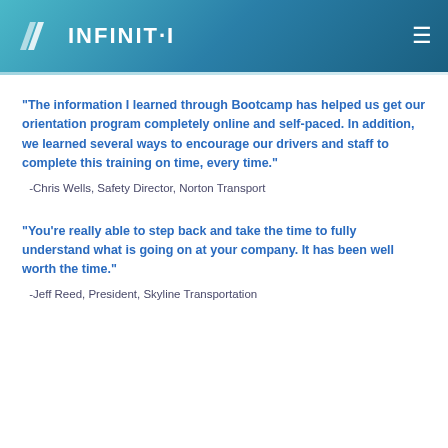INFINIT-I
“The information I learned through Bootcamp has helped us get our orientation program completely online and self-paced. In addition, we learned several ways to encourage our drivers and staff to complete this training on time, every time.”
-Chris Wells, Safety Director, Norton Transport
“You’re really able to step back and take the time to fully understand what is going on at your company. It has been well worth the time.”
-Jeff Reed, President, Skyline Transportation